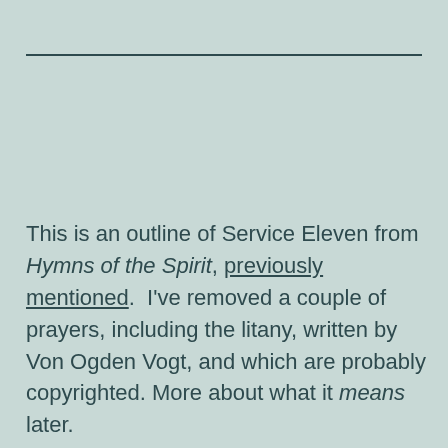This is an outline of Service Eleven from Hymns of the Spirit, previously mentioned.  I've removed a couple of prayers, including the litany, written by Von Ogden Vogt, and which are probably copyrighted. More about what it means later.